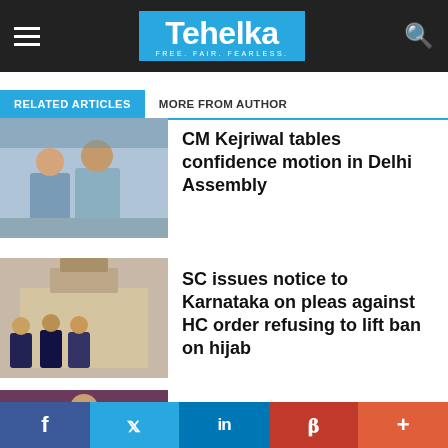Tehelka — FREE. FAIR. FEARLESS.
RELATED ARTICLES | MORE FROM AUTHOR
[Figure (photo): Photo of CM Kejriwal and colleagues in Delhi Assembly]
CM Kejriwal tables confidence motion in Delhi Assembly
[Figure (photo): Photo of Supreme Court building with people in foreground wearing masks]
SC issues notice to Karnataka on pleas against HC order refusing to lift ban on hijab
[Figure (photo): Photo of Former Rajya Sabha member M A Khan]
Former Rajya Sabha member M A Khan quits Congress
f  Twitter  in  Pinterest  +